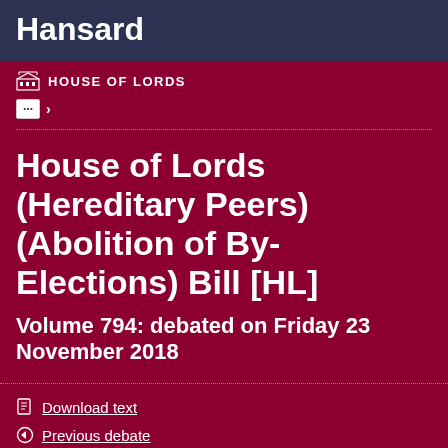Hansard
HOUSE OF LORDS
House of Lords (Hereditary Peers) (Abolition of By-Elections) Bill [HL]
Volume 794: debated on Friday 23 November 2018
Download text
Previous debate
Committee (3rd Day)